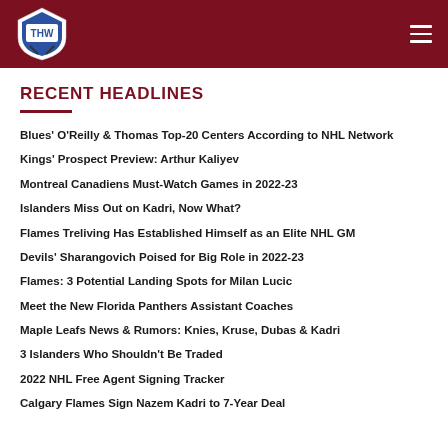THW - The Hockey Writers
RECENT HEADLINES
Blues' O'Reilly & Thomas Top-20 Centers According to NHL Network
Kings' Prospect Preview: Arthur Kaliyev
Montreal Canadiens Must-Watch Games in 2022-23
Islanders Miss Out on Kadri, Now What?
Flames Treliving Has Established Himself as an Elite NHL GM
Devils' Sharangovich Poised for Big Role in 2022-23
Flames: 3 Potential Landing Spots for Milan Lucic
Meet the New Florida Panthers Assistant Coaches
Maple Leafs News & Rumors: Knies, Kruse, Dubas & Kadri
3 Islanders Who Shouldn't Be Traded
2022 NHL Free Agent Signing Tracker
Calgary Flames Sign Nazem Kadri to 7-Year Deal